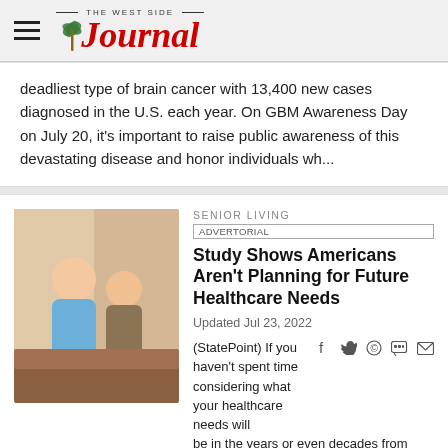The West Side Journal
deadliest type of brain cancer with 13,400 new cases diagnosed in the U.S. each year. On GBM Awareness Day on July 20, it's important to raise public awareness of this devastating disease and honor individuals wh...
SENIOR LIVING
ADVERTORIAL
Study Shows Americans Aren't Planning for Future Healthcare Needs
Updated Jul 23, 2022
(StatePoint) If you haven't spent time considering what your healthcare needs will be in the years or even decades from now,
[Figure (photo): A caregiver or nurse in blue scrubs sitting beside an elderly person, holding hands, in a warm indoor setting.]